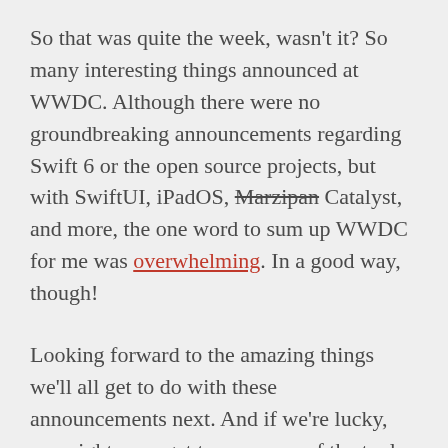So that was quite the week, wasn't it? So many interesting things announced at WWDC. Although there were no groundbreaking announcements regarding Swift 6 or the open source projects, but with SwiftUI, iPadOS, Marzipan Catalyst, and more, the one word to sum up WWDC for me was overwhelming. In a good way, though!
Looking forward to the amazing things we'll all get to do with these announcements next. And if we're lucky, we might even get to see some of the tools in open source and/or on other platforms… Here's hoping.
With all of that happening, it has been relatively (read: very) quiet when it comes to proposals, although a few updates to proposals related to the